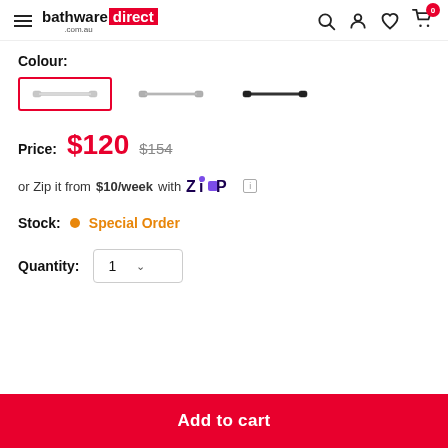bathware direct .com.au
Colour:
[Figure (illustration): Three colour option swatches showing grab bar variants: chrome (selected, with red border), brushed nickel, and matte black]
Price: $120 $154
or Zip it from $10/week with Zip
Stock: • Special Order
Quantity: 1
Add to cart